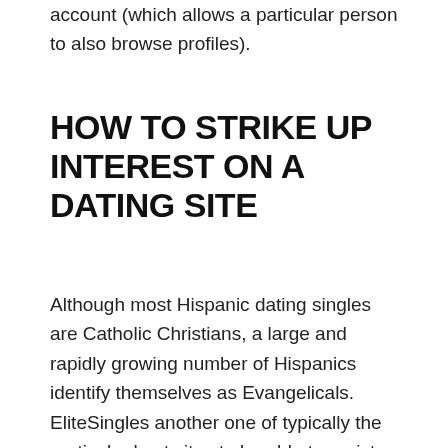account (which allows a particular person to also browse profiles).
HOW TO STRIKE UP INTEREST ON A DATING SITE
Although most Hispanic dating singles are Catholic Christians, a large and rapidly growing number of Hispanics identify themselves as Evangelicals. EliteSingles another one of typically the particular best sites to be able to register. This is likewise one associated with typically the best known, as properly as contains a staff